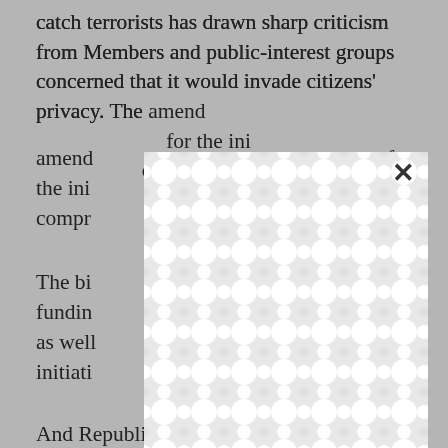catch terrorists has drawn sharp criticism from Members and public-interest groups concerned that it would invade citizens' privacy. The amendment was available with deadlines for the initial appropriations bill but was compromised.
The bill included funded appropriations ions as well as initiatives.
And Republican negotiators, pressed by the moderates in the GOP Main Street Coalition and others, agreed to drop an environmental rider that would have given Alaska special rights to
[Figure (other): A white dialog/modal overlay with a repeating organic blob/pebble pattern in light gray, with an X close button in the upper right corner, partially obscuring the text behind it.]